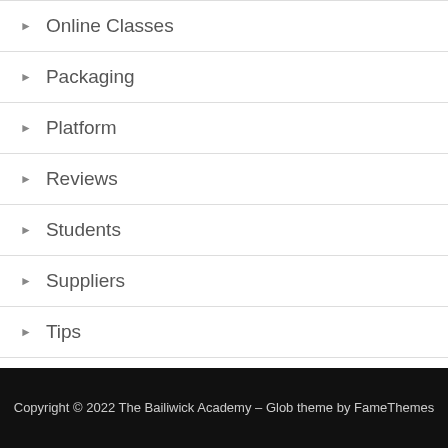Online Classes
Packaging
Platform
Reviews
Students
Suppliers
Tips
Copyright © 2022 The Bailiwick Academy – Glob theme by FameThemes